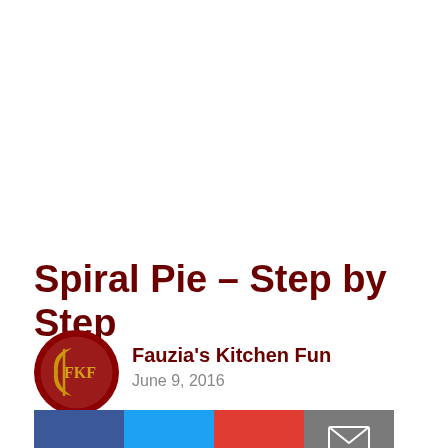Spiral Pie – Step by Step
Fauzia's Kitchen Fun
June 9, 2016
[Figure (other): Social share buttons: Facebook (blue), Twitter (cyan), Pinterest (red), Email (gray)]